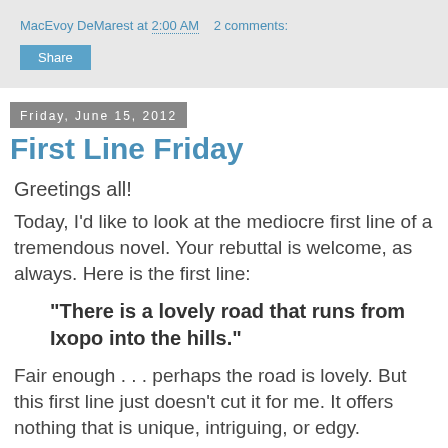MacEvoy DeMarest at 2:00 AM   2 comments:
Share
Friday, June 15, 2012
First Line Friday
Greetings all!
Today, I'd like to look at the mediocre first line of a tremendous novel. Your rebuttal is welcome, as always. Here is the first line:
"There is a lovely road that runs from Ixopo into the hills."
Fair enough . . . perhaps the road is lovely. But this first line just doesn't cut it for me. It offers nothing that is unique, intriguing, or edgy. Granted, it's simple, and